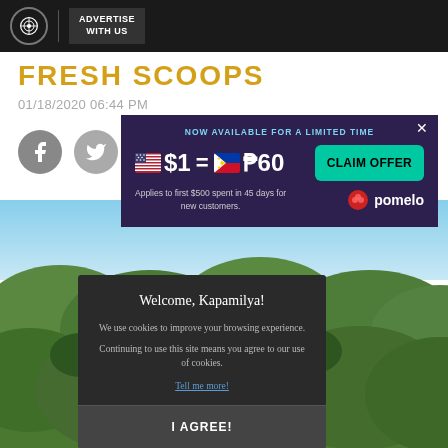ADVERTISE WITH US
FRESH SCOOPS
01/18/2020 06:44 PM
[Figure (screenshot): Advertisement overlay: NOW AVAILABLE FOR A LIMITED TIME. $1 = ₱60. CLAIM OFFER button. Applies to first $500 spent in 45 days for new customers. Pomelo logo.]
[Figure (screenshot): Cookie consent modal: Welcome, Kapamilya! We use cookies to improve your browsing experience. Continuing to use this site means you agree to our use of cookies. Tell me more! I AGREE! button.]
[Figure (photo): Background photo of Chocolate Hills in Bohol, Philippines, with a woman in the foreground.]